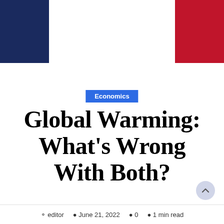[Figure (illustration): Dark navy blue rectangle in top-left corner of page, decorative header element]
[Figure (illustration): Dark red/crimson rectangle in top-right corner of page, decorative header element]
Economics
Global Warming: What’s Wrong With Both?
editor · June 21, 2022 · 0 · 1 min read